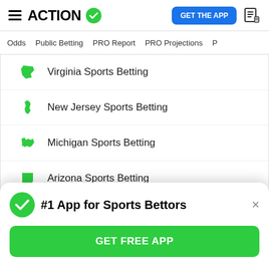ACTION (logo with checkmark) | GET THE APP
Odds | Public Betting | PRO Report | PRO Projections
Virginia Sports Betting
New Jersey Sports Betting
Michigan Sports Betting
Arizona Sports Betting
Canada Sports Betting
#1 App for Sports Bettors
GET FREE APP